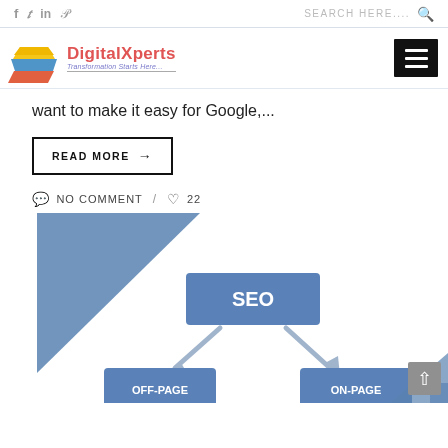Social icons: f, Twitter, in, Pinterest | SEARCH HERE....
[Figure (logo): DigitalXperts logo with layered colored squares (yellow, blue, orange/red) and text 'DigitalXperts - Transformation Starts Here...']
want to make it easy for Google,...
READ MORE →
NO COMMENT / 22
[Figure (infographic): SEO diagram showing a central 'SEO' blue box connected via arrows to 'OFF-PAGE' and 'ON-PAGE' boxes below. A blue triangle decorates the top-left corner.]